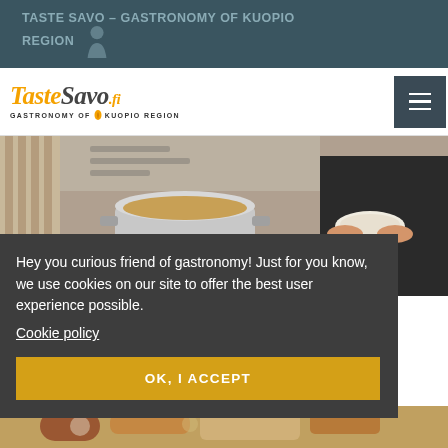TASTE SAVO – GASTRONOMY OF KUOPIO REGION
[Figure (logo): TasteSavo.fi Gastronomy of Kuopio Region logo with orange script lettering and navigation hamburger menu]
[Figure (photo): Food preparation scene: large metal pot with soup/stew and a person holding a bowl]
Hey you curious friend of gastronomy! Just for you know, we use cookies on our site to offer the best user experience possible.
Cookie policy
OK, I ACCEPT
[Figure (photo): Food dish with garnish visible at the bottom of the page]